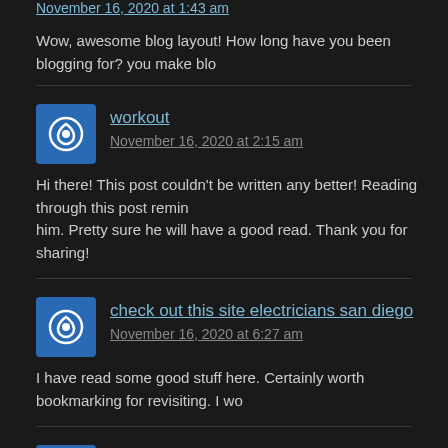November 16, 2020 at 1:43 am
Wow, awesome blog layout! How long have you been blogging for? you make blo...
workout
November 16, 2020 at 2:15 am
Hi there! This post couldn't be written any better! Reading through this post reminde... him. Pretty sure he will have a good read. Thank you for sharing!
check out this site electricians san diego
November 16, 2020 at 6:27 am
I have read some good stuff here. Certainly worth bookmarking for revisiting. I wo...
useful content
November 16, 2020 at 6:45 am
Some genuinely nice stuff on this internet site, I love it.